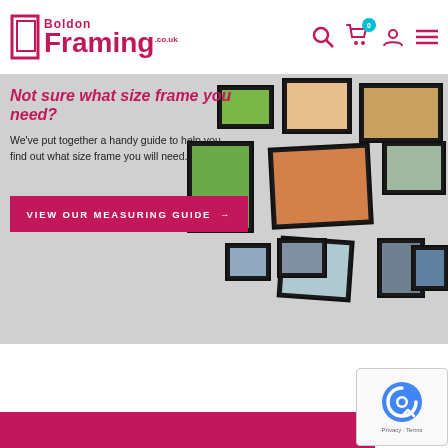Boldon Framing .co.uk
[Figure (screenshot): Website banner showing multiple picture frames arranged on a wall with landscape photographs, on a light grey background]
Not sure what size frame you need?
We've put together a handy guide to help you find out what size frame you will need.
VIEW OUR MEASURING GUIDE →
[Figure (other): reCAPTCHA Privacy badge bottom right corner]